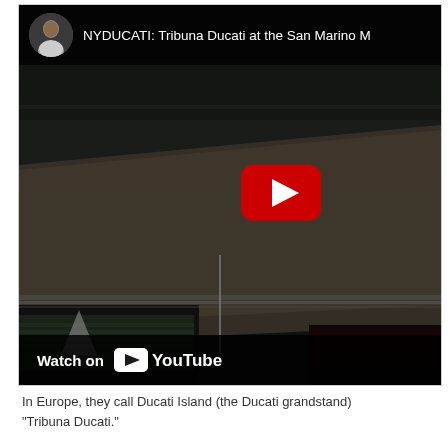[Figure (screenshot): YouTube video thumbnail showing NYDUCATI: Tribuna Ducati at the San Marino [GP]. Dark overhead view of a motorsport racetrack with grandstands and a YouTube play button overlay. Top bar shows a circular avatar photo and the video title. Bottom bar shows 'Watch on YouTube' branding.]
In Europe, they call Ducati Island (the Ducati grandstand) "Tribuna Ducati."